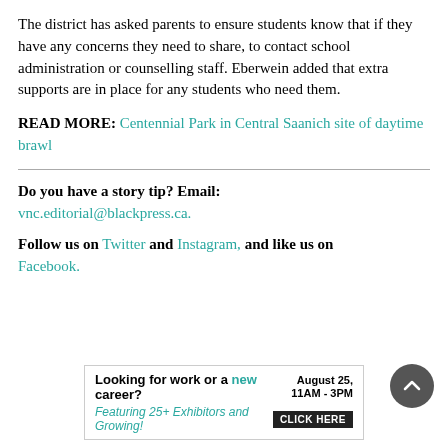The district has asked parents to ensure students know that if they have any concerns they need to share, to contact school administration or counselling staff. Eberwein added that extra supports are in place for any students who need them.
READ MORE: Centennial Park in Central Saanich site of daytime brawl
Do you have a story tip? Email: vnc.editorial@blackpress.ca.
Follow us on Twitter and Instagram, and like us on Facebook.
[Figure (other): Advertisement banner: 'Looking for work or a new career? August 25, 11AM - 3PM. Featuring 25+ Exhibitors and Growing! CLICK HERE']